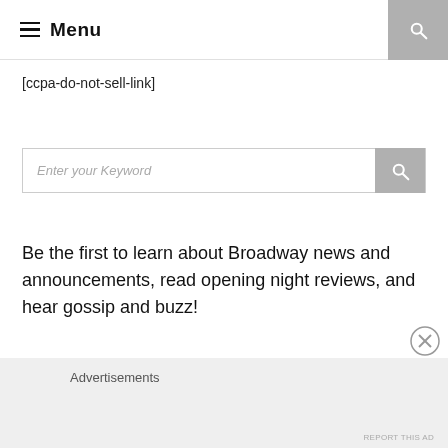Menu
[ccpa-do-not-sell-link]
Enter your Keyword
Be the first to learn about Broadway news and announcements, read opening night reviews, and hear gossip and buzz!
Advertisements
REPORT THIS AD